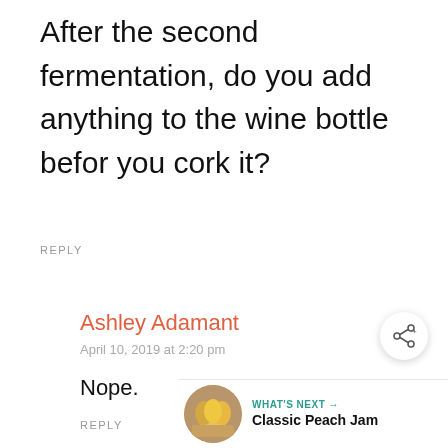After the second fermentation, do you add anything to the wine bottle before you cork it?
REPLY
Ashley Adamant
April 10, 2019 at 2:20 pm
Nope.
REPLY